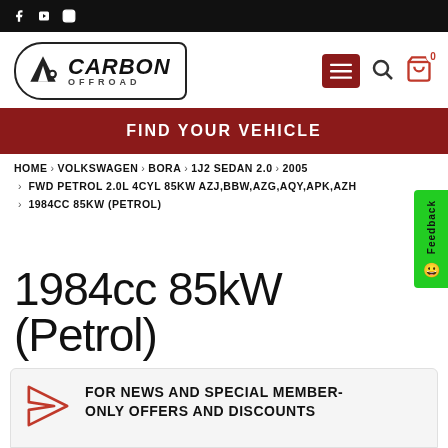Carbon Offroad website header with social icons (Facebook, YouTube, Instagram), Carbon Offroad logo, menu button, search icon, cart icon
FIND YOUR VEHICLE
HOME › VOLKSWAGEN › BORA › 1J2 SEDAN 2.0 › 2005 › FWD PETROL 2.0L 4CYL 85KW AZJ,BBW,AZG,AQY,APK,AZH › 1984CC 85KW (PETROL)
1984cc 85kW (Petrol)
FOR NEWS AND SPECIAL MEMBER-ONLY OFFERS AND DISCOUNTS